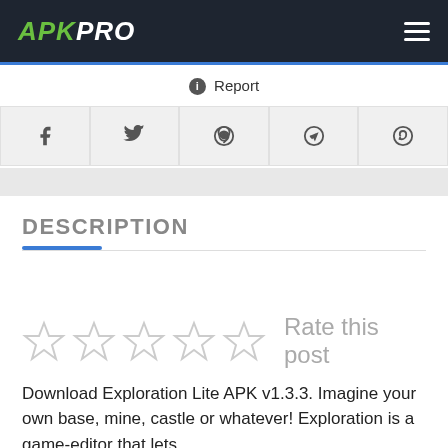APKPRO
Report
[Figure (other): Social share buttons: Facebook, Twitter, Pinterest, Telegram, WhatsApp]
DESCRIPTION
Rate this post
Download Exploration Lite APK v1.3.3. Imagine your own base, mine, castle or whatever! Exploration is a game-editor that lets